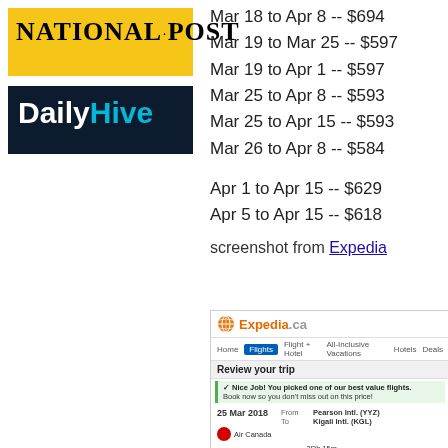[Figure (logo): National Post logo — yellow background with bold serif text]
[Figure (logo): Daily Hive logo — dark navy background with white 'Daily' and teal 'Hive' text]
Mar 18 to Apr 8 -- $694
Mar 19 to Mar 25 -- $597
Mar 19 to Apr 1 -- $597
Mar 25 to Apr 8 -- $593
Mar 25 to Apr 15 -- $593
Mar 26 to Apr 8 -- $584
Apr 1 to Apr 15 -- $629
Apr 5 to Apr 15 -- $618
screenshot from Expedia
[Figure (screenshot): Expedia.ca screenshot showing 'Review your trip' page with Air Canada flight from Pearson Intl. (YYZ) to Kigali Intl. (KGL) on 25 Mar 2018, departing 7:35pm arriving 7:50am, duration 3Dh 15m, arriving Tue 27. Return row shows 8 Apr 2018 from Kigali Intl. (KGL).]